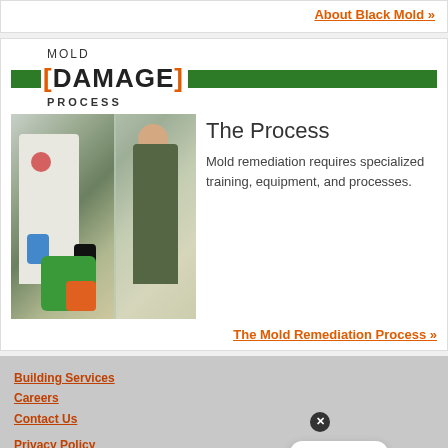About Black Mold »
MOLD [DAMAGE] PROCESS
[Figure (photo): Two people performing mold remediation in a contained area. One worker in a white hazmat suit with respirator and gloves operates green equipment. Another person in a green shirt points to a plastic-sheeted wall.]
The Process
Mold remediation requires specialized training, equipment, and processes.
The Mold Remediation Process »
Building Services
Careers
Contact Us
Privacy Policy
Terms & Conditions
Site Map
Visit our corporate site